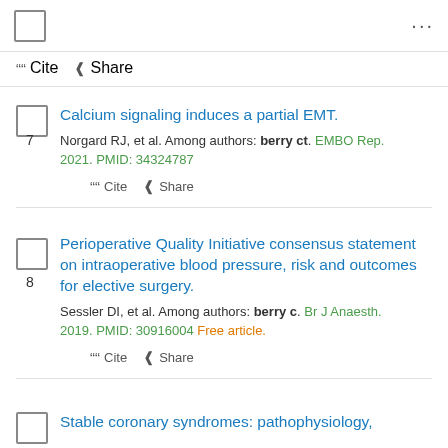Cite  Share
7. Calcium signaling induces a partial EMT. Norgard RJ, et al. Among authors: berry ct. EMBO Rep. 2021. PMID: 34324787
Cite  Share
8. Perioperative Quality Initiative consensus statement on intraoperative blood pressure, risk and outcomes for elective surgery. Sessler DI, et al. Among authors: berry c. Br J Anaesth. 2019. PMID: 30916004 Free article.
Cite  Share
Stable coronary syndromes: pathophysiology,